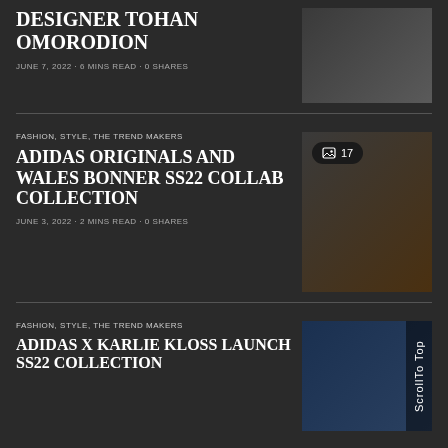DESIGNER TOHAN OMORODION
JUNE 7, 2022 · 6 MINS READ · 0 SHARES
FASHION, STYLE, THE TREND MAKERS
ADIDAS ORIGINALS AND WALES BONNER SS22 COLLAB COLLECTION
JUNE 3, 2022 · 2 MINS READ · 0 SHARES
[Figure (photo): Photo thumbnail for Adidas Originals and Wales Bonner SS22 article with image count badge showing 17]
FASHION, STYLE, THE TREND MAKERS
ADIDAS X KARLIE KLOSS LAUNCH SS22 COLLECTION
[Figure (photo): Photo thumbnail for Adidas x Karlie Kloss article with Scroll To Top button overlay]